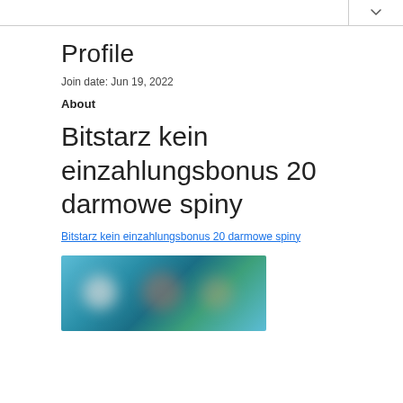Profile
Join date: Jun 19, 2022
About
Bitstarz kein einzahlungsbonus 20 darmowe spiny
Bitstarz kein einzahlungsbonus 20 darmowe spiny
[Figure (photo): Blurred image showing people against a teal/blue background]